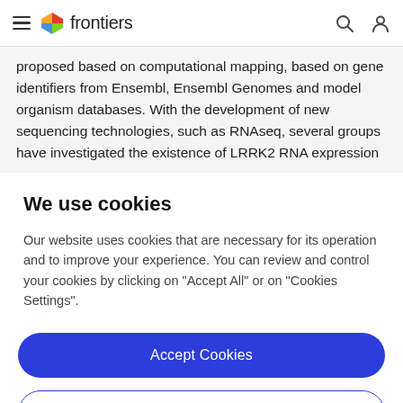frontiers
proposed based on computational mapping, based on gene identifiers from Ensembl, Ensembl Genomes and model organism databases. With the development of new sequencing technologies, such as RNAseq, several groups have investigated the existence of LRRK2 RNA expression
We use cookies
Our website uses cookies that are necessary for its operation and to improve your experience. You can review and control your cookies by clicking on "Accept All" or on "Cookies Settings".
Accept Cookies
Cookies Settings